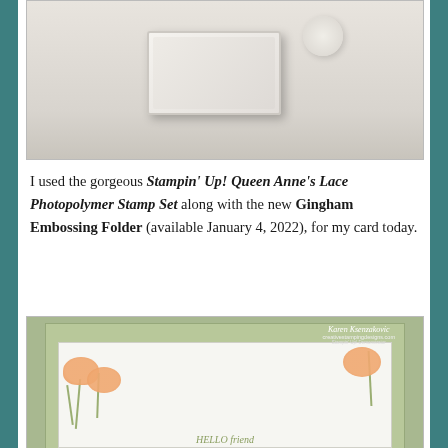[Figure (photo): Photo of a white Stampin Up clear acrylic stamp storage box on a light gray surface]
I used the gorgeous Stampin' Up! Queen Anne's Lace Photopolymer Stamp Set along with the new Gingham Embossing Folder (available January 4, 2022), for my card today.
[Figure (photo): Handmade greeting card by Karen Ksenzakovic featuring Queen Anne's Lace floral stamps in peach/orange on white, mounted on a sage green gingham-embossed background, with pearls at flower centers and 'HELLO friend' sentiment]